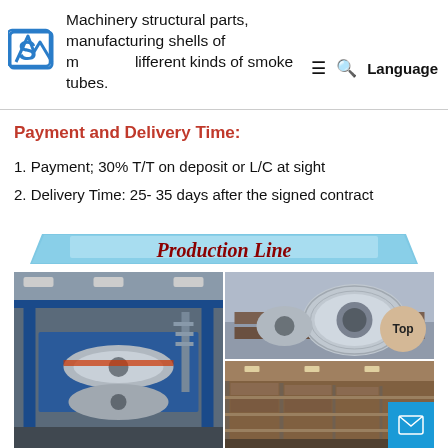Machinery structural parts, manufacturing shells of m different kinds of smoke tubes.
Payment and Delivery Time:
1. Payment; 30% T/T on deposit or L/C at sight
2. Delivery Time: 25- 35 days after the signed contract
[Figure (illustration): Production Line banner with blue parallelogram shape and italic bold red text 'Production Line']
[Figure (photo): Three industrial production line photos: large left photo showing heavy machinery with steel rollers in a factory; top right photo showing a large metal coil/cylinder on supports; bottom right photo showing a warehouse/storage facility with rows of shelving. A 'Top' button circle and mail icon overlay the photos in the bottom right corner.]